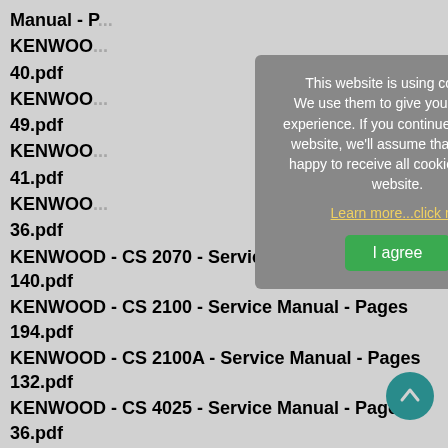Manual - Pages [truncated]
KENWOOD - [truncated]
40.pdf
KENWOOD - [truncated]
49.pdf
KENWOOD - [truncated]
41.pdf
KENWOOD - [truncated]
36.pdf
KENWOOD - CS 2070 - Service Manual - Pages 140.pdf
KENWOOD - CS 2100 - Service Manual - Pages 194.pdf
KENWOOD - CS 2100A - Service Manual - Pages 132.pdf
KENWOOD - CS 4025 - Service Manual - Pages 36.pdf
KENWOOD - CS 5135 - Schema & Parts List & PC Board & Adjustament - Pages 18.pdf
[Figure (other): Cookie consent popup overlay with message: 'This website is using cookies! We use them to give you the best experience. If you continue using our website, we'll assume that you are happy to receive all cookies on this website.' with link 'Learn more...click me' and button 'I agree']